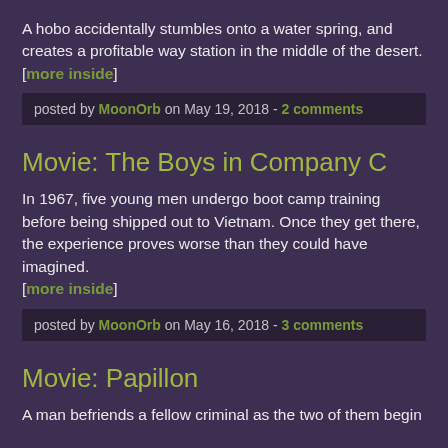A hobo accidentally stumbles onto a water spring, and creates a profitable way station in the middle of the desert. [more inside]
posted by MoonOrb on May 19, 2018 - 2 comments
Movie: The Boys in Company C
In 1967, five young men undergo boot camp training before being shipped out to Vietnam. Once they get there, the experience proves worse than they could have imagined. [more inside]
posted by MoonOrb on May 16, 2018 - 3 comments
Movie: Papillon
A man befriends a fellow criminal as the two of them begin